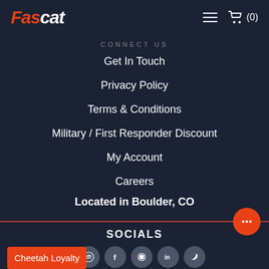Fascat — menu icon, cart (0)
CONNECT US
Get In Touch
Privacy Policy
Terms & Conditions
Military / First Responder Discount
My Account
Careers
Located in Boulder, CO
SOCIALS
[Figure (infographic): Social media icons row: Spotify, Facebook, another icon, LinkedIn, Twitter]
Cheetah Loyalty